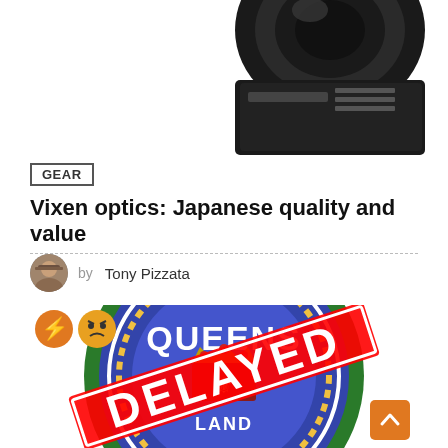[Figure (photo): Partial camera lens shown from above on white background, top portion cut off]
GEAR
Vixen optics: Japanese quality and value
by Tony Pizzata
[Figure (photo): Queensland cricket or sports logo (blue circular badge with QUEENS text and royal crown) overlaid with large red DELAYED stamp text, with orange lightning bolt and angry face emoji reaction icons in top-left corner. Orange scroll-up arrow button in bottom-right corner.]